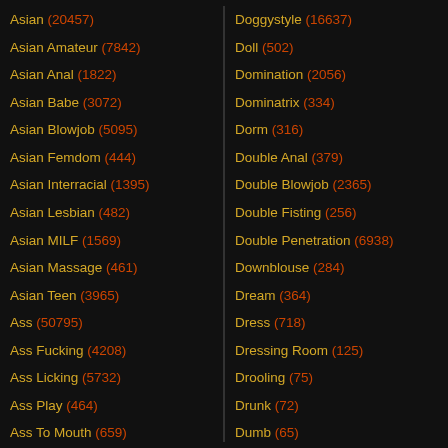Asian (20457)
Asian Amateur (7842)
Asian Anal (1822)
Asian Babe (3072)
Asian Blowjob (5095)
Asian Femdom (444)
Asian Interracial (1395)
Asian Lesbian (482)
Asian MILF (1569)
Asian Massage (461)
Asian Teen (3965)
Ass (50795)
Ass Fucking (4208)
Ass Licking (5732)
Ass Play (464)
Ass To Mouth (659)
Doggystyle (16637)
Doll (502)
Domination (2056)
Dominatrix (334)
Dorm (316)
Double Anal (379)
Double Blowjob (2365)
Double Fisting (256)
Double Penetration (6938)
Downblouse (284)
Dream (364)
Dress (718)
Dressing Room (125)
Drooling (75)
Drunk (72)
Dumb (65)